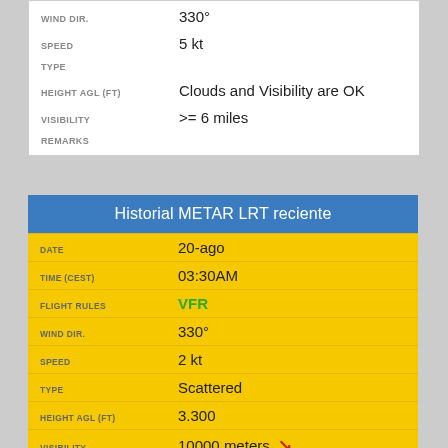| Field | Value |
| --- | --- |
| WIND DIR. | 330° |
| SPEED | 5 kt |
| TYPE |  |
| HEIGHT AGL (FT) | Clouds and Visibility are OK |
| VISIBILITY | >= 6 miles |
| REMARKS |  |
Historial METAR LRT reciente
| Field | Value |
| --- | --- |
| DATE | 20-ago |
| TIME (CEST) | 03:30AM |
| FLIGHT RULES | VFR |
| WIND DIR. | 330° |
| SPEED | 2 kt |
| TYPE | Scattered |
| HEIGHT AGL (FT) | 3.300 |
| VISIBILITY | 10000 meters ↓ |
| TEMP (°C) | 12° |
| TEMP(°F) | 53° |
| DEW POINT (°C) | 11° |
| DEW POINT(°F) | 51° |